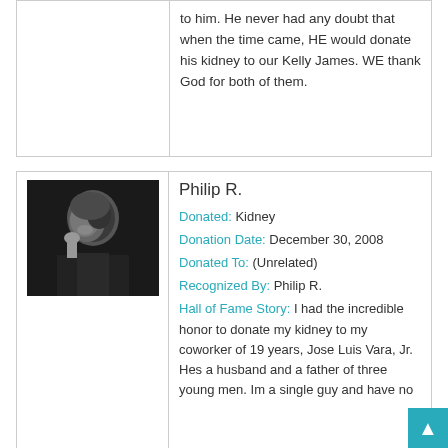to him. He never had any doubt that when the time came, HE would donate his kidney to our Kelly James. WE thank God for both of them.
[Figure (photo): Black and white portrait photo of Philip R., an older man smiling with his hand near his face]
Philip R.
Donated: Kidney
Donation Date: December 30, 2008
Donated To: (Unrelated)
Recognized By: Philip R.
Hall of Fame Story: I had the incredible honor to donate my kidney to my coworker of 19 years, Jose Luis Vara, Jr. Hes a husband and a father of three young men. Im a single guy and have no...